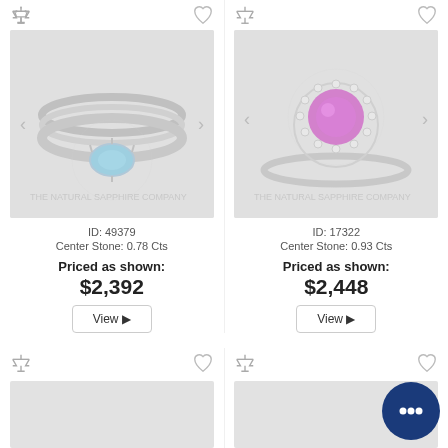[Figure (photo): Ring with aquamarine/teal center stone on white gold band, product photo]
ID: 49379
Center Stone: 0.78 Cts
Priced as shown:
$2,392
View
[Figure (photo): Ring with pink/purple round center stone surrounded by diamond halo, white gold band, product photo]
ID: 17322
Center Stone: 0.93 Cts
Priced as shown:
$2,448
View
[Figure (photo): Bottom left ring product image, partially visible]
[Figure (photo): Bottom right ring product image, partially visible]